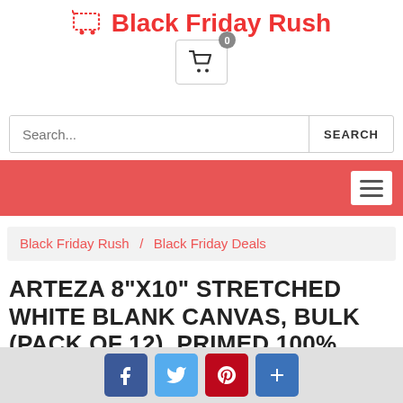Black Friday Rush
[Figure (screenshot): Shopping cart icon button with badge showing 0]
Search...
[Figure (screenshot): Red navigation bar with hamburger menu icon]
Black Friday Rush / Black Friday Deals
ARTEZA 8"X10" STRETCHED WHITE BLANK CANVAS, BULK (PACK OF 12), PRIMED 100% COTTON, FOR PAINTING, ACRYLIC POURING, OIL PAINT & WET
[Figure (screenshot): Social share buttons: Facebook, Twitter, Pinterest, Plus]